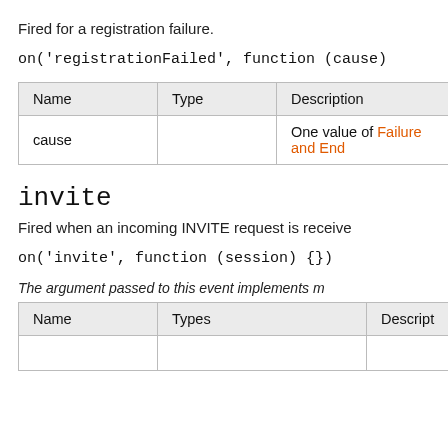Fired for a registration failure.
on('registrationFailed', function (cause)
| Name | Type | Description |
| --- | --- | --- |
| cause |  | One value of Failure and End... |
invite
Fired when an incoming INVITE request is receive...
on('invite', function (session) {})
The argument passed to this event implements m...
| Name | Types | Description |
| --- | --- | --- |
|  |  |  |